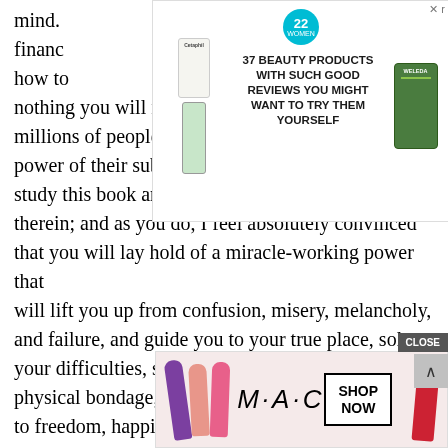mind. financ earn how to ere is nothing you will not be able to accomplish. Join the millions of people who have already unlocked the power of their subconscious minds. I urge you to study this book and apply the techniques outlined therein; and as you do, I feel absolutely convinced that you will lay hold of a miracle-working power that will lift you up from confusion, misery, melancholy, and failure, and guide you to your true place, solve your difficulties, sever you from emotional and physical bondage, and place you on the royal road to freedom, happiness, and peace of mind.
[Figure (infographic): Advertisement banner: 37 BEAUTY PRODUCTS WITH SUCH GOOD REVIEWS YOU MIGHT WANT TO TRY THEM YOURSELF. Shows Cetaphil and Weleda products with a 22 badge.]
Joseph
Buy it
[Figure (infographic): MAC cosmetics advertisement with lipstick images, MAC logo, SHOP NOW button, and CLOSE button.]